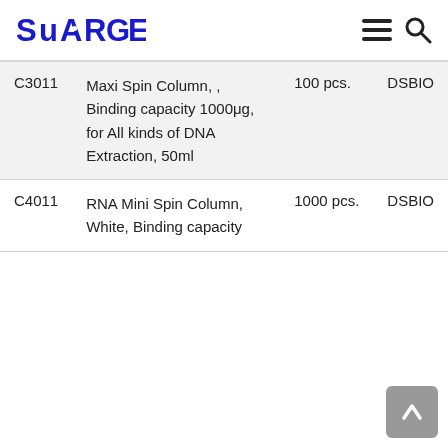SUARGE
| Code | Description | Quantity | Brand |
| --- | --- | --- | --- |
| C3011 | Maxi Spin Column, , Binding capacity 1000μg, for All kinds of DNA Extraction, 50ml | 100 pcs. | DSBIO |
| C4011 | RNA Mini Spin Column, White, Binding capacity | 1000 pcs. | DSBIO |